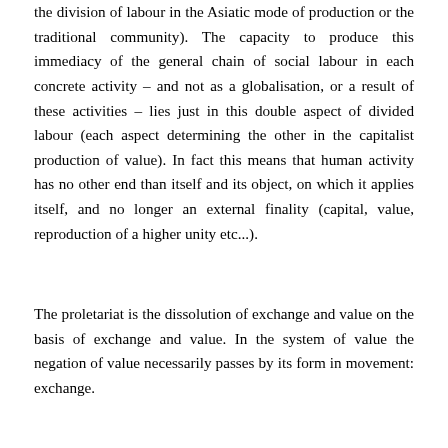the division of labour in the Asiatic mode of production or the traditional community). The capacity to produce this immediacy of the general chain of social labour in each concrete activity – and not as a globalisation, or a result of these activities – lies just in this double aspect of divided labour (each aspect determining the other in the capitalist production of value). In fact this means that human activity has no other end than itself and its object, on which it applies itself, and no longer an external finality (capital, value, reproduction of a higher unity etc...).
The proletariat is the dissolution of exchange and value on the basis of exchange and value. In the system of value the negation of value necessarily passes by its form in movement: exchange.